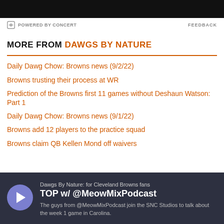[Figure (other): Black top bar image placeholder]
POWERED BY CONCERT    FEEDBACK
MORE FROM DAWGS BY NATURE
Daily Dawg Chow: Browns news (9/2/22)
Browns trusting their process at WR
Prediction of the Browns first 11 games without Deshaun Watson: Part 1
Daily Dawg Chow: Browns news (9/1/22)
Browns add 12 players to the practice squad
Browns claim QB Kellen Mond off waivers
[Figure (other): Podcast card: Dawgs By Nature for Cleveland Browns fans - TOP w/ @MeowMixPodcast. The guys from @MeowMixPodcast join the SNC Studios to talk about the week 1 game in Carolina.]